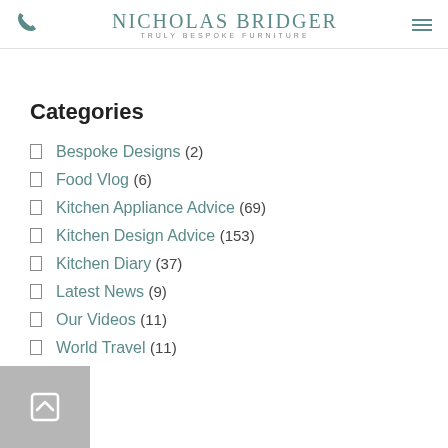Nicholas Bridger — Truly Bespoke Furniture
Categories
Bespoke Designs (2)
Food Vlog (6)
Kitchen Appliance Advice (69)
Kitchen Design Advice (153)
Kitchen Diary (37)
Latest News (9)
Our Videos (11)
World Travel (11)